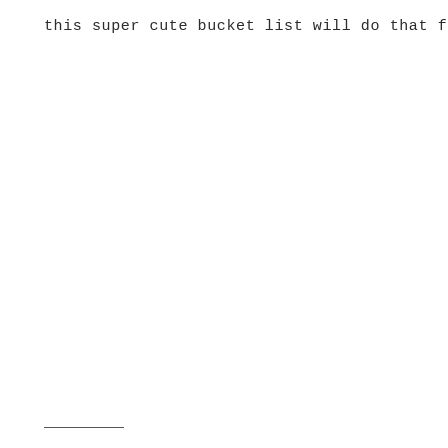this super cute bucket list will do that for me!
___________